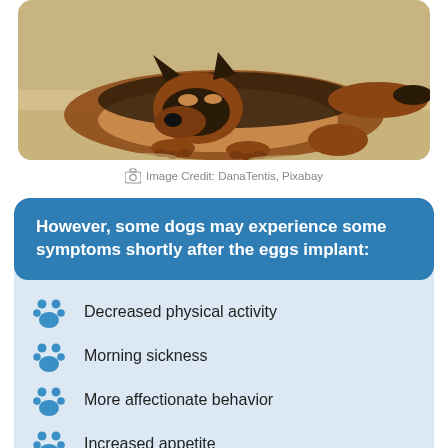[Figure (photo): German Shepherd dog lying on sand at a beach, resting with front paws extended]
Image Credit: DanaTentis, Pixabay
However, some dogs may experience some symptoms shortly after the eggs implant:
Decreased physical activity
Morning sickness
More affectionate behavior
Increased appetite
Enlarged nipples